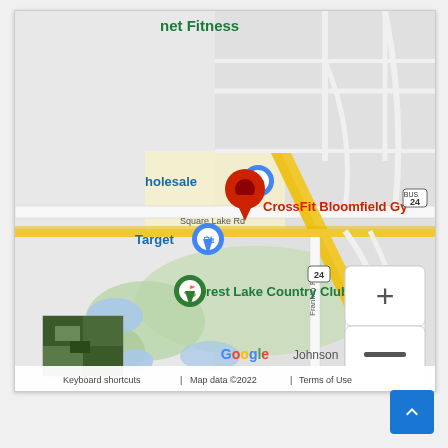[Figure (map): Google Maps screenshot showing CrossFit Bloomfield Gym location near Square Lake Rd and US-24 in Bloomfield, Michigan. Shows nearby landmarks: Planet Fitness, BJ's Wholesale, Target, Forest Lake Country Club. A red map pin marks CrossFit Bloomfield Gym. Blue pins mark BJ's Wholesale and Target. Green pin marks Forest Lake Country Club. Map includes zoom controls (+/-), satellite thumbnail, Google logo, and footer text: 'Keyboard shortcuts | Map data ©2022 | Terms of Use'.]
[Figure (other): Blue back-to-top button with upward chevron arrow in the bottom-right corner of the page.]